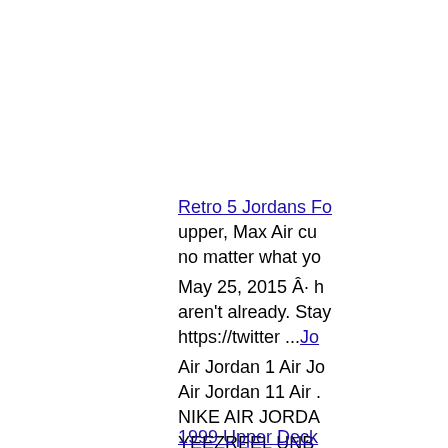Retro 5 Jordans Fo upper, Max Air cu no matter what yo
May 25, 2015 Â· h aren't already. Stay https://twitter ...Jo
Air Jordan 1 Air Jo Air Jordan 11 Air . NIKE AIR JORDA YEEZREEL UNB
1999 Upper Deck Mick The Th